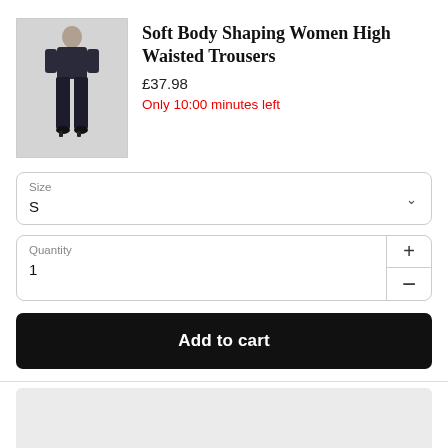[Figure (photo): Product photo of a woman wearing black high-waisted trousers]
Soft Body Shaping Women High Waisted Trousers
£37.98
Only 10:00 minutes left
Size
S
Quantity
1
Add to cart
[Figure (other): Gray placeholder area at bottom of page]